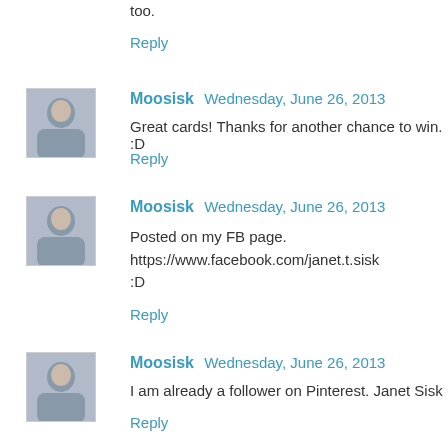too.
Reply
Moosisk  Wednesday, June 26, 2013
Great cards! Thanks for another chance to win. :D
Reply
Moosisk  Wednesday, June 26, 2013
Posted on my FB page.
https://www.facebook.com/janet.t.sisk
:D
Reply
Moosisk  Wednesday, June 26, 2013
I am already a follower on Pinterest. Janet Sisk
Reply